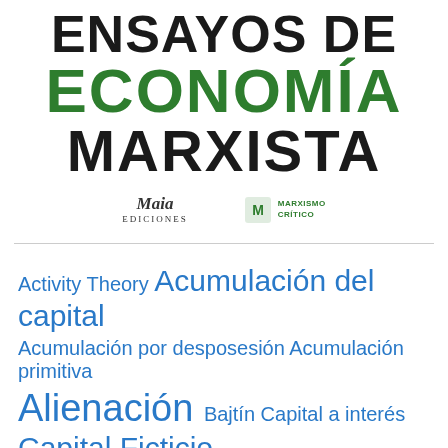ENSAYOS DE ECONOMÍA MARXISTA
[Figure (logo): Maia Ediciones publisher logo]
[Figure (logo): Marxismo Crítico publisher logo]
Activity Theory Acumulación del capital Acumulación por desposesión Acumulación primitiva Alienación Bajtín Capital a interés Capital Ficticio Capital Financiero Ciencias Sociales